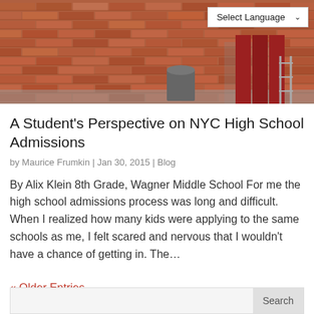[Figure (photo): Brick wall exterior of a school building with red doors and a trash can visible, taken from outside. A 'Select Language' dropdown is overlaid in the top right corner.]
A Student's Perspective on NYC High School Admissions
by Maurice Frumkin | Jan 30, 2015 | Blog
By Alix Klein 8th Grade, Wagner Middle School For me the high school admissions process was long and difficult. When I realized how many kids were applying to the same schools as me, I felt scared and nervous that I wouldn't have a chance of getting in. The…
« Older Entries